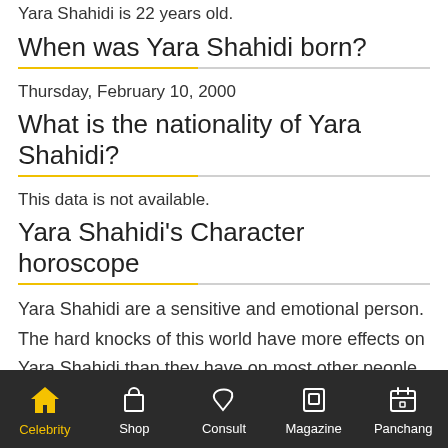Yara Shahidi is 22 years old.
When was Yara Shahidi born?
Thursday, February 10, 2000
What is the nationality of Yara Shahidi?
This data is not available.
Yara Shahidi's Character horoscope
Yara Shahidi are a sensitive and emotional person. The hard knocks of this world have more effects on Yara Shahidi than they have on most other people, and Yara Shahidi lose some of the enjoyment of life in consequence. What other people say and think of Yara Shahidi is taken by Yara Shahidi to heart. Thus, there are a certain number
Celebrity  Shop  Consult  Magazine  Panchang